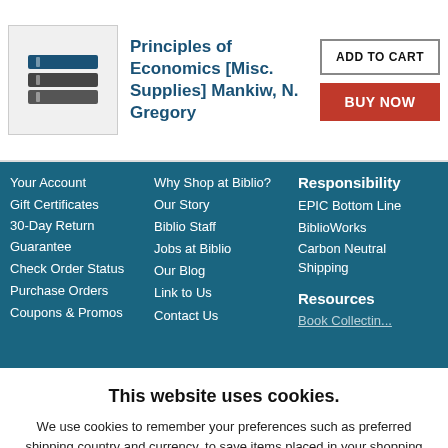[Figure (illustration): Book stack icon/logo for Principles of Economics]
Principles of Economics [Misc. Supplies] Mankiw, N. Gregory
ADD TO CART
BUY NOW
Your Account
Gift Certificates
30-Day Return Guarantee
Check Order Status
Purchase Orders
Coupons & Promos
Why Shop at Biblio?
Our Story
Biblio Staff
Jobs at Biblio
Our Blog
Link to Us
Contact Us
Responsibility
EPIC Bottom Line
BiblioWorks
Carbon Neutral Shipping
Resources
Book Collecting
This website uses cookies.
We use cookies to remember your preferences such as preferred shipping country and currency, to save items placed in your shopping cart, to track website visits referred from our advertising partners, and to analyze our website traffic. Manage your privacy settings.
AGREE AND CLOSE